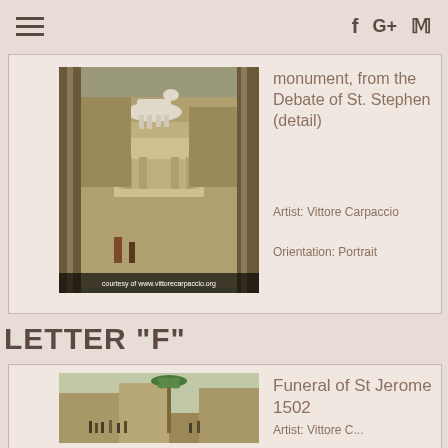Navigation menu and social icons (f, G+, P)
[Figure (photo): Detail painting of a horse monument, from the Debate of St. Stephen, by Vittore Carpaccio. Shows architectural columns and figures. Caption: courtesy of www.vittorecarpaccio.org]
monument, from the Debate of St. Stephen (detail)
Artist: Vittore Carpaccio
Orientation: Portrait
LETTER "F"
[Figure (photo): Painting of Funeral of St Jerome 1502 by Vittore Carpaccio, showing a town scene with figures and a tall palm tree.]
Funeral of St Jerome 1502
Artist: Vittore Carpaccio